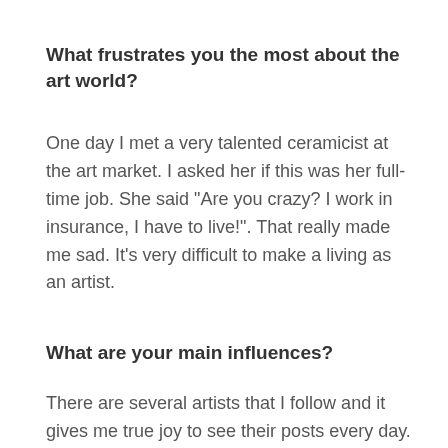What frustrates you the most about the art world?
One day I met a very talented ceramicist at the art market. I asked her if this was her full-time job. She said “Are you crazy? I work in insurance, I have to live!”. That really made me sad. It’s very difficult to make a living as an artist.
What are your main influences?
There are several artists that I follow and it gives me true joy to see their posts every day. Some inspire me with their technique